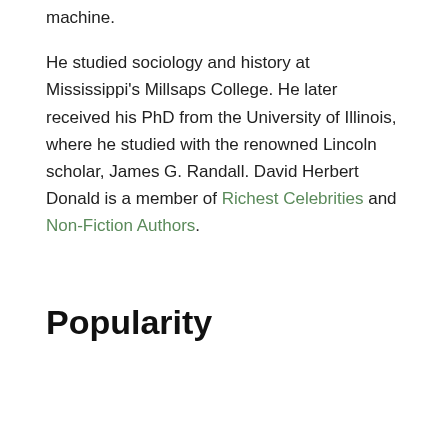machine.
He studied sociology and history at Mississippi's Millsaps College. He later received his PhD from the University of Illinois, where he studied with the renowned Lincoln scholar, James G. Randall. David Herbert Donald is a member of Richest Celebrities and Non-Fiction Authors.
Popularity